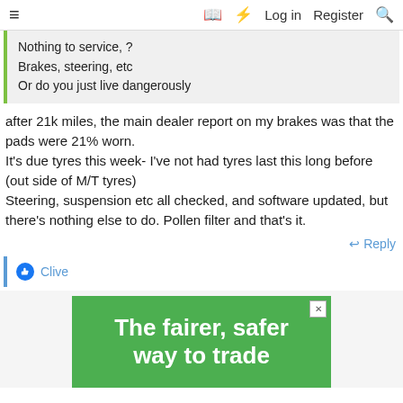≡  📖  ⚡  Log in  Register  🔍
Nothing to service, ?
Brakes, steering, etc
Or do you just live dangerously
after 21k miles, the main dealer report on my brakes was that the pads were 21% worn.
It's due tyres this week- I've not had tyres last this long before (out side of M/T tyres)
Steering, suspension etc all checked, and software updated, but there's nothing else to do. Pollen filter and that's it.
↩ Reply
👍 Clive
[Figure (infographic): Green advertisement banner reading 'The fairer, safer way to trade']